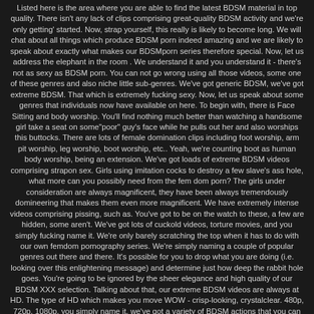Listed here is the area where you are able to find the latest BDSM material in top quality. There isn't any lack of clips comprising great-quality BDSM activity and we're only getting' started. Now, strap yourself, this really is likely to become long. We will chat about all things which produce BDSM porn indeed amazing and we are likely to speak about exactly what makes our BDSMporn series therefore special. Now, let us address the elephant in the room . We understand it and you understand it - there's not as sexy as BDSM porn. You can not go wrong using all those videos, some one of these genres and also niche little sub-genres. We've got generic BDSM, we've got extreme BDSM. That which is extremely fucking sexy. Now, let us speak about some genres that individuals now have available on here. To begin with, there is Face Sitting and body worship. You'll find nothing much better than watching a handsome girl take a seat on some"poor" guy's face while he pulls out her and also worships this buttocks. There are lots of female domination clips including foot worship, arm pit worship, leg worship, boot worship, etc.. Yeah, we're counting boot as human body worship, being an extension. We've got loads of extreme BDSM videos comprising strapon sex. Girls using imitation cocks to destroy a few slave's ass hole, what more can you possibly need from the fem dom porn? The girls under consideration are always magnificent, they have been always tremendously domineering that makes them even more magnificent. We have extremely intense videos comprising pissing, such as. You've got to be on the watch to these, a few are hidden, some aren't. We've got lots of cuckold videos, torture movies, and you simply fucking name it. We're only barely scratching the top when it has to do with our own femdom pornography series. We're simply naming a couple of popular genres out there and there. It's possible for you to drop what you are doing (i.e. looking over this enlightening message) and determine just how deep the rabbit hole goes. You're going to be ignored by the sheer elegance and high quality of our BDSM XXX selection. Talking about that, our extreme BDSM videos are always at HD. The type of HD which makes you move WOW - crisp-looking, crystalclear. 480p, 720p, 1080p, you simply name it, we've got a variety of BDSM actions that you can whatch online. While on the topic of technicalities and advantages, it